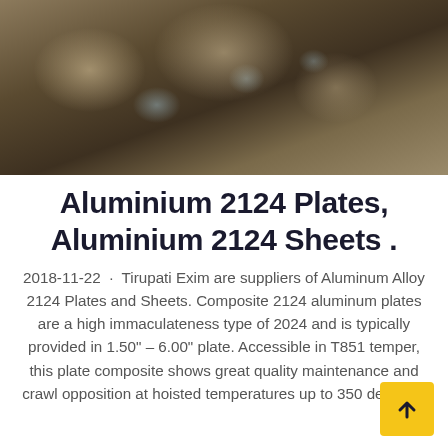[Figure (photo): Photograph of stacked aluminium plates/sheets wrapped in brown paper, with shiny metallic surfaces visible on top, in a warehouse or storage setting.]
Aluminium 2124 Plates, Aluminium 2124 Sheets .
2018-11-22 · Tirupati Exim are suppliers of Aluminum Alloy 2124 Plates and Sheets. Composite 2124 aluminum plates are a high immaculateness type of 2024 and is typically provided in 1.50" - 6.00" plate. Accessible in T851 temper, this plate composite shows great quality maintenance and crawl opposition at hoisted temperatures up to 350 degrees.